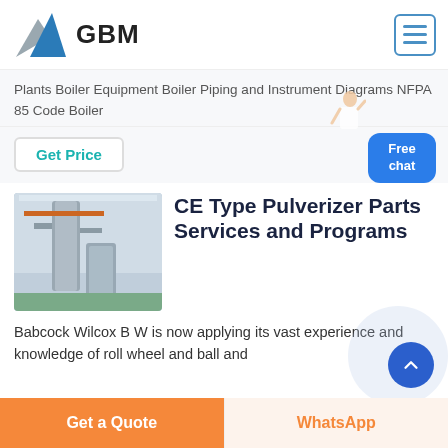GBM
Plants Boiler Equipment Boiler Piping and Instrument Diagrams NFPA 85 Code Boiler
Get Price
[Figure (photo): Industrial pulverizer/milling equipment in a factory setting]
CE Type Pulverizer Parts Services and Programs
Babcock Wilcox B W is now applying its vast experience and knowledge of roll wheel and ball and
Get a Quote | WhatsApp